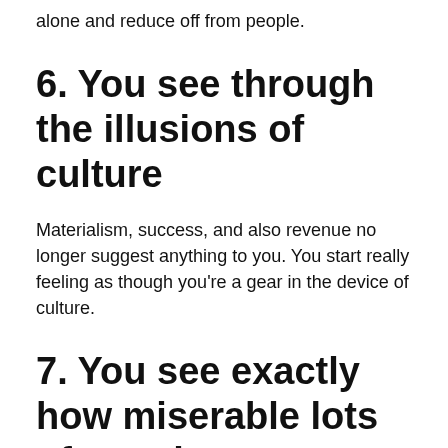alone and reduce off from people.
6. You see through the illusions of culture
Materialism, success, and also revenue no longer suggest anything to you. You start really feeling as though you're a gear in the device of culture.
7. You see exactly how miserable lots of people are
You awaken to the worry and also suffering of others. You might start to explore activism